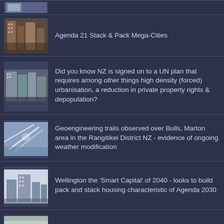Agenda 21 Stack & Pack Mega-Cities
Did you know NZ is signed on to a UN plan that requires among other things high density (forced) urbanisation, a reduction in private property rights & depopulation?
Geoengineering trails observed over Bulls, Marton area in the Rangitikei District NZ - evidence of ongoing weather modification
Wellington the 'Smart Capital' of 2040 - looks to build pack and stack housing characteristic of Agenda 2030
Plans for 34,500 new homes at Pukekohe... looking like Agenda 21/30 pack & stack housing
Australian Sen Malcolm Roberts exposes the climate change scam
NZ: over 150 confirmed deaths, 2 per day on